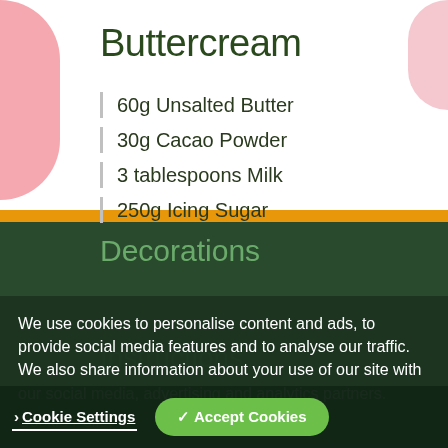Buttercream
60g Unsalted Butter
30g Cacao Powder
3 tablespoons Milk
250g Icing Sugar
Decorations
We use cookies to personalise content and ads, to provide social media features and to analyse our traffic. We also share information about your use of our site with our social media, advertising and analytics partners.
Cookie Policy
Instructions
To begin, line a cupcake tray with paper cases and prehe
Cookie Settings
✓ Accept Cookies